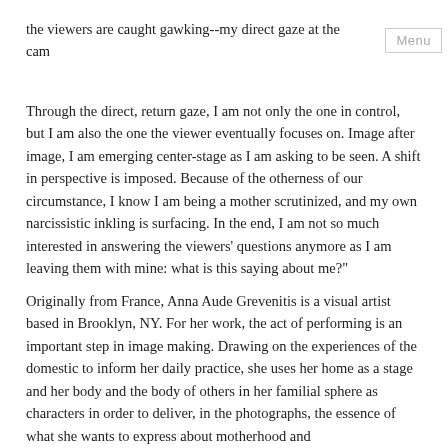the viewers are caught gawking--my direct gaze at the cam
Through the direct, return gaze, I am not only the one in control, but I am also the one the viewer eventually focuses on. Image after image, I am emerging center-stage as I am asking to be seen. A shift in perspective is imposed. Because of the otherness of our circumstance, I know I am being a mother scrutinized, and my own narcissistic inkling is surfacing. In the end, I am not so much interested in answering the viewers' questions anymore as I am leaving them with mine: what is this saying about me?"
Originally from France, Anna Aude Grevenitis is a visual artist based in Brooklyn, NY. For her work, the act of performing is an important step in image making. Drawing on the experiences of the domestic to inform her daily practice, she uses her home as a stage and her body and the body of others in her familial sphere as characters in order to deliver, in the photographs, the essence of what she wants to express about motherhood and